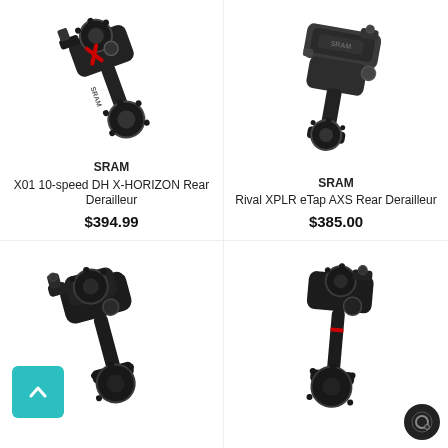[Figure (photo): SRAM X01 10-speed DH X-HORIZON Rear Derailleur product photo, black with red accents]
SRAM
X01 10-speed DH X-HORIZON Rear Derailleur
$394.99
[Figure (photo): SRAM Rival XPLR eTap AXS Rear Derailleur product photo, dark grey/black]
SRAM
Rival XPLR eTap AXS Rear Derailleur
$385.00
[Figure (photo): SRAM rear derailleur product photo, all black, lower left product]
[Figure (photo): SRAM rear derailleur product photo, all black with red accent, lower right product]